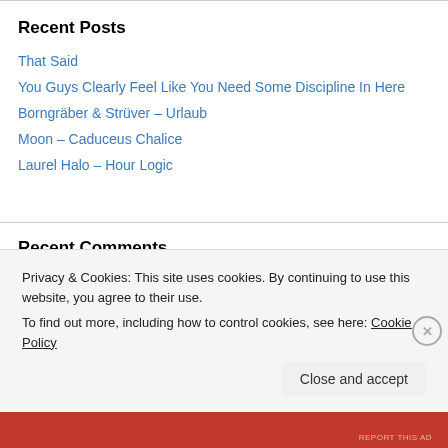Recent Posts
That Said
You Guys Clearly Feel Like You Need Some Discipline In Here
Borngräber & Strüver – Urlaub
Moon – Caduceus Chalice
Laurel Halo – Hour Logic
Recent Comments
x x on Autechre and The Myth of Diffi…
Privacy & Cookies: This site uses cookies. By continuing to use this website, you agree to their use.
To find out more, including how to control cookies, see here: Cookie Policy
Close and accept